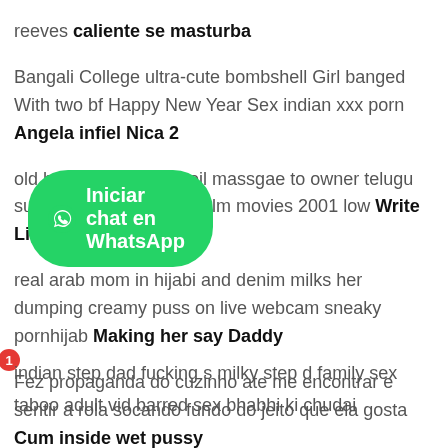reeves caliente se masturba Bangali College ultra-cute bombshell Girl banged With two bf Happy New Year Sex indian xxx porn Angela infiel Nica 2 old hot servant giving oil massgae to owner telugu super-fucking-hot short film movies 2001 low Write Lines for Me 2 real arab mom in hijabi and denim milks her dumping creamy puss on live webcam sneaky pornhijab Making her say Daddy Fez propaganda do cuzinho ate me encontrar e sentir a rola socando fundo do jeito que ela gosta Cum inside wet pussy Rumpa toylet fuck-a-thon with my prosperous nephew and I couldnt contain the urge to fuck indian step dad fucking s milky step d family sex taboo adult vid barred sex bhabhi ki chudai
[Figure (other): Green WhatsApp chat button with notification badge showing '1']